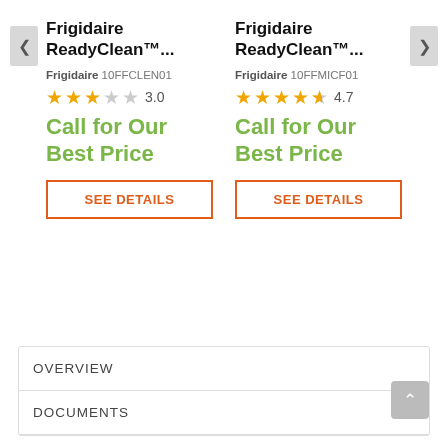Frigidaire ReadyClean™...
Frigidaire 10FFCLEN01
3.0 stars rating
Call for Our Best Price
SEE DETAILS
Frigidaire ReadyClean™...
Frigidaire 10FFMICF01
4.7 stars rating
Call for Our Best Price
SEE DETAILS
OVERVIEW
DOCUMENTS